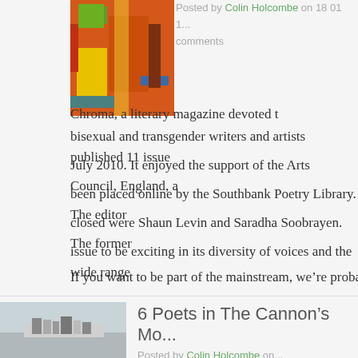[Figure (photo): Abstract colorful painting with orange, yellow, green, and blue rectangular shapes]
Posted by Colin Holcombe on 18 01 1... comments
Chroma, a literary magazine devoted to bisexual and transgender writers and artists published 11 issue... July 2010. It enjoyed the support of the Arts Council, England, a... been placed online by the Southbank Poetry Library. The editor... closed were Shaun Levin and Saradha Soobrayen. The former... issue to be exciting in its diversity of voices and the wide range... If you want to be part of the mainstream, we’re probably not the... want writers who take risks in their work, who experiment, and s... beautifully.’ Half the work in the three issues is unavailable onlin... remainder, the poetry is in free verse form, or more strictly...
[Figure (photo): Black and white photo of what appears to be books or landscape]
6 Poets in The Cannon’s Mo...
Posted by Colin Holcombe on...